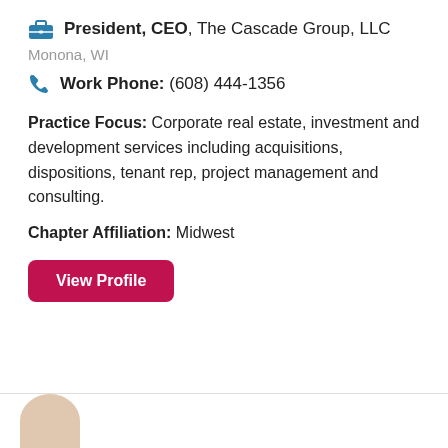President, CEO, The Cascade Group, LLC
Monona, WI
Work Phone: (608) 444-1356
Practice Focus: Corporate real estate, investment and development services including acquisitions, dispositions, tenant rep, project management and consulting.
Chapter Affiliation: Midwest
View Profile